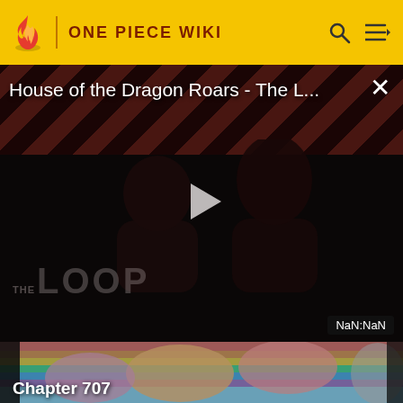ONE PIECE WIKI
[Figure (screenshot): Video player showing 'House of the Dragon Roars - The L...' with a dark overlay, diagonal red and black stripes at top, two silhouetted figures, a play button in the center, THE LOOP watermark, and NaN:NaN timestamp badge.]
[Figure (illustration): One Piece manga artwork showing colorful anime characters including Luffy and crew with a rainbow background, partially visible. Chapter 707 label at the bottom left.]
Chapter 707